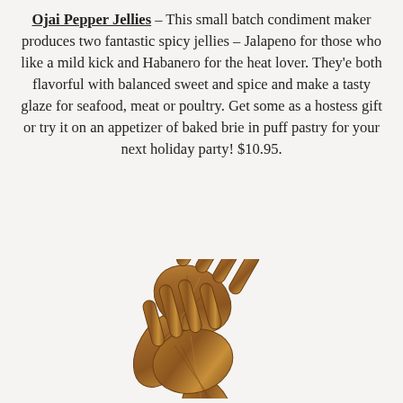Ojai Pepper Jellies – This small batch condiment maker produces two fantastic spicy jellies – Jalapeno for those who like a mild kick and Habanero for the heat lover. They'e both flavorful with balanced sweet and spice and make a tasty glaze for seafood, meat or poultry. Get some as a hostess gift or try it on an appetizer of baked brie in puff pastry for your next holiday party! $10.95.
[Figure (photo): Two olive wood salad servers/hands-shaped utensils with finger-like tines, arranged overlapping on a light background.]